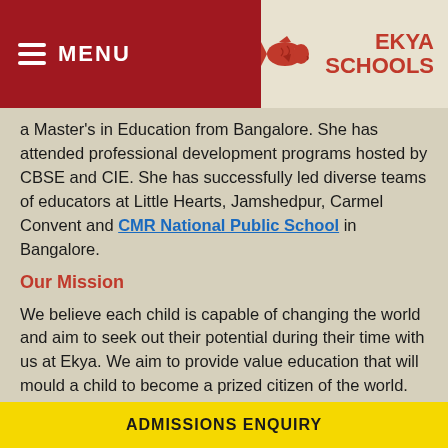MENU | EKYA SCHOOLS
a Master's in Education from Bangalore. She has attended professional development programs hosted by CBSE and CIE. She has successfully led diverse teams of educators at Little Hearts, Jamshedpur, Carmel Convent and CMR National Public School in Bangalore.
Our Mission
We believe each child is capable of changing the world and aim to seek out their potential during their time with us at Ekya. We aim to provide value education that will mould a child to become a prized citizen of the world.  As one of the top CBSE schools in KR Puram, Bangalore, we provide a robust in-house curriculum for students of Grades 1 to 8 and follow the CBSE board curriculum for students of grade
ADMISSIONS ENQUIRY